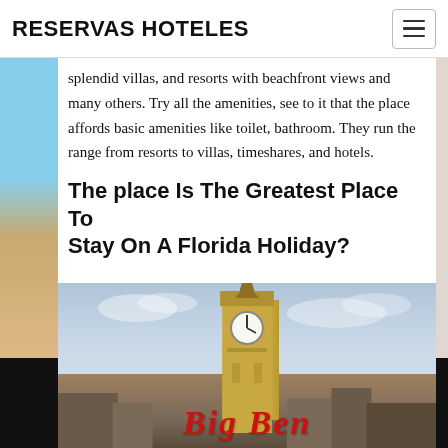RESERVAS HOTELES
splendid villas, and resorts with beachfront views and many others. Try all the amenities, see to it that the place affords basic amenities like toilet, bathroom. They run the range from resorts to villas, timeshares, and hotels.
The place Is The Greatest Place To Stay On A Florida Holiday?
[Figure (photo): Photo of Big Ben clock tower in London with 'Big Ben' text overlay in red italic script]